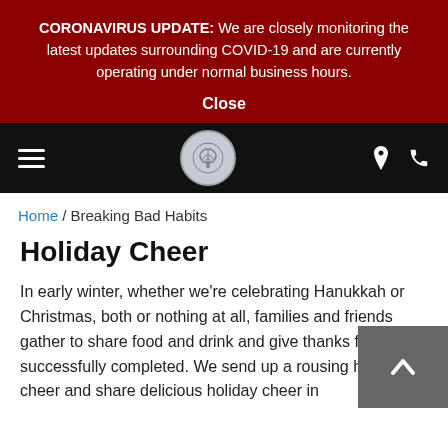CORONAVIRUS UPDATE: We are closely monitoring the latest updates surrounding COVID-19 and are currently operating under normal business hours.
Close
[Figure (logo): Black navigation bar with hamburger menu icon on left, circular logo with stylized tree/plant in center, map pin and phone icons on right]
Home / Breaking Bad Habits
Holiday Cheer
In early winter, whether we're celebrating Hanukkah or Christmas, both or nothing at all, families and friends gather to share food and drink and give thanks for a year successfully completed. We send up a rousing holiday cheer and share delicious holiday cheer in